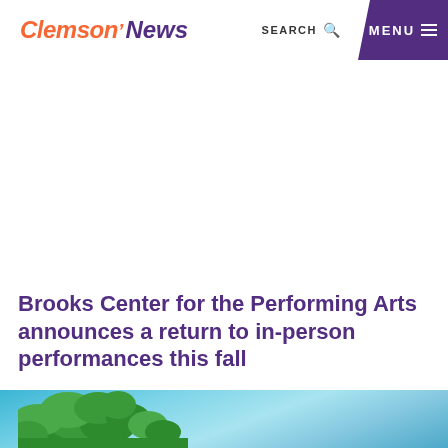Clemson News — SEARCH [icon] MENU
Brooks Center for the Performing Arts announces a return to in-person performances this fall
[Figure (photo): Outdoor photo showing green tree foliage against a bright blue sky, cropped at the bottom of the page]